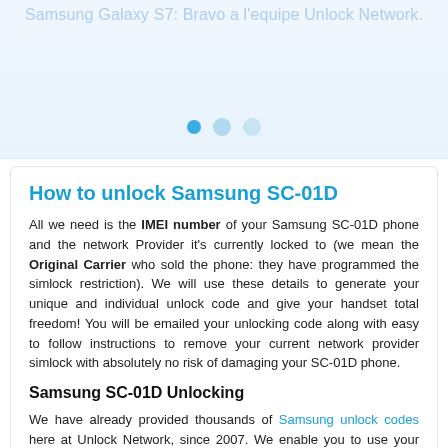Samsung Galaxy S7: Bravo a l'equipe Unlock Network.
[Figure (other): Carousel navigation dots: three dots, first filled blue, second medium blue, third light blue]
How to unlock Samsung SC-01D
All we need is the IMEI number of your Samsung SC-01D phone and the network Provider it's currently locked to (we mean the Original Carrier who sold the phone: they have programmed the simlock restriction). We will use these details to generate your unique and individual unlock code and give your handset total freedom! You will be emailed your unlocking code along with easy to follow instructions to remove your current network provider simlock with absolutely no risk of damaging your SC-01D phone.
Samsung SC-01D Unlocking
We have already provided thousands of Samsung unlock codes here at Unlock Network, since 2007. We enable you to use your phone on ANY network carrier, local or worldwide. We are the best in the business. That's not just talk: Just read through authentic certified Reviews from our customers and you will see we provide excellent customer support and deliver upon it time and time again. We provide even better service than